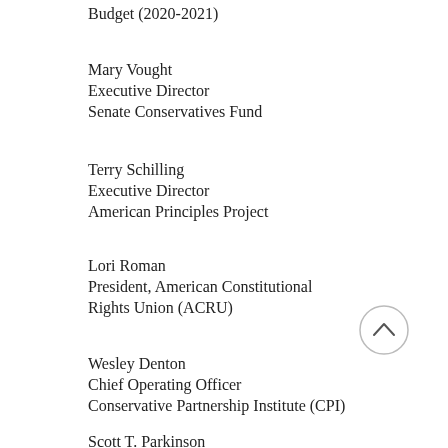Budget (2020-2021)
Mary Vought
Executive Director
Senate Conservatives Fund
Terry Schilling
Executive Director
American Principles Project
Lori Roman
President, American Constitutional Rights Union (ACRU)
Wesley Denton
Chief Operating Officer
Conservative Partnership Institute (CPI)
Scott T. Parkinson